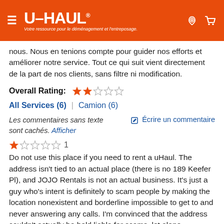U-HAUL — Votre ressource pour le déménagement et l'entreposage.
nous. Nous en tenions compte pour guider nos efforts et améliorer notre service. Tout ce qui suit vient directement de la part de nos clients, sans filtre ni modification.
Overall Rating: ★★☆☆☆
All Services (6) | Camion (6)
Les commentaires sans texte sont cachés. Afficher
Écrire un commentaire
★☆☆☆☆ 1
Do not use this place if you need to rent a uHaul. The address isn't tied to an actual place (there is no 189 Keefer Pl), and JOJO Rentals is not an actual business. It's just a guy who's intent is definitely to scam people by making the location nonexistent and borderline impossible to get to and never answering any calls. I'm convinced that the address couldn't actually be held liable for scams, let alone...